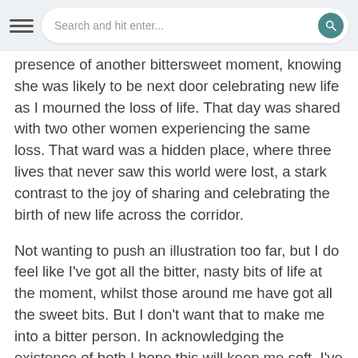Search and hit enter...
presence of another bittersweet moment, knowing she was likely to be next door celebrating new life as I mourned the loss of life. That day was shared with two other women experiencing the same loss. That ward was a hidden place, where three lives that never saw this world were lost, a stark contrast to the joy of sharing and celebrating the birth of new life across the corridor.
Not wanting to push an illustration too far, but I do feel like I've got all the bitter, nasty bits of life at the moment, whilst those around me have got all the sweet bits. But I don't want that to make me into a bitter person. In acknowledging the existence of both I hope this will keep me soft. I've learnt